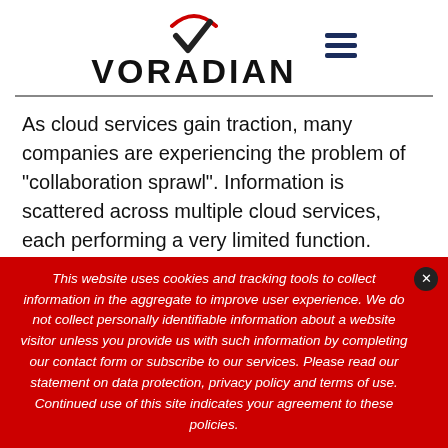[Figure (logo): VORADIAN logo with checkmark and red arc above, plus hamburger menu icon to the right]
As cloud services gain traction, many companies are experiencing the problem of "collaboration sprawl". Information is scattered across multiple cloud services, each performing a very limited function. VORADIAN solves this problem by offering a single unified collaboration environment where teams can meet all their productivity and teamwork needs. It sets itself apart by applying innovative social technologies which shifts emphasis from the traditional "content focused" approach to a "people focused" approach where the onus is on engaging people around
This website uses cookies and tracking tools to collect information in the aggregate to improve user experience. We do not collect personally identifiable information about a website visitor unless you provide us with such information by completing our contact form or subscribe to our services. Please read our statement on data protection, privacy policy and terms of use. Continued use of this site indicates your agreement to these policies.